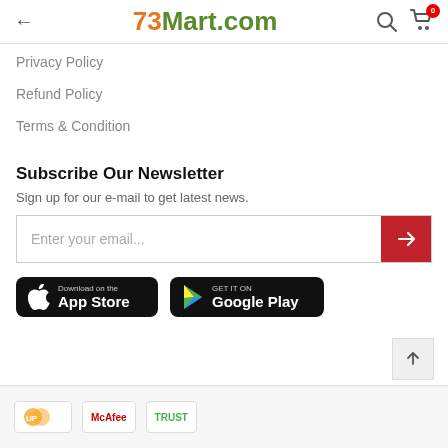73Mart.com
Privacy Policy
Refund Policy
Terms & Condition
Subscribe Our Newsletter
Sign up for our e-mail to get latest news.
Enter your email...
[Figure (screenshot): Download on the App Store button (black rounded rectangle with Apple logo)]
[Figure (screenshot): GET IT ON Google Play button (black rounded rectangle with Play logo)]
Payment trust badge icons: Union Pay, McAfee, Trust